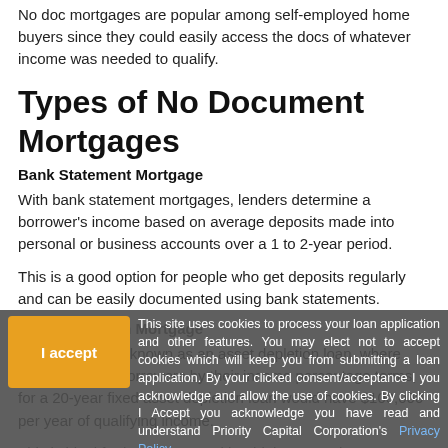No doc mortgages are popular among self-employed home buyers since they could easily access the docs of whatever income was needed to qualify.
Types of No Document Mortgages
Bank Statement Mortgage
With bank statement mortgages, lenders determine a borrower's income based on average deposits made into personal or business accounts over a 1 to 2-year period.
This is a good option for people who get deposits regularly and can be easily documented using bank statements.
Asset Depletion Mortgage (partially visible)
This type is also known as an asset depletion loan, where lenders qualify borrowers by their income percentage terms... for a 20-year fixed asset depletion loan would have $100,000 per year of qualifying income.
This is ideal for homebuyers with a high net worth.